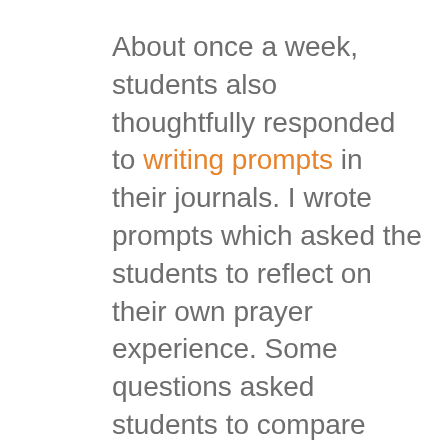About once a week, students also thoughtfully responded to writing prompts in their journals. I wrote prompts which asked the students to reflect on their own prayer experience. Some questions asked students to compare their own thoughts and feelings to the texts we had learned. Other questions asked the students to reflect on their own feelings after a specific prayer service in school. Additional writing prompts encouraged